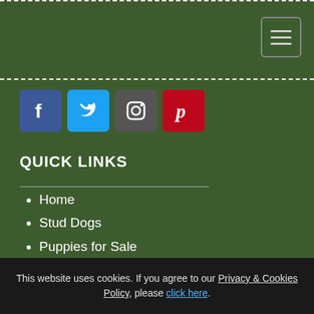[Figure (other): Hamburger menu icon button in top-right corner with three horizontal lines]
[Figure (other): Social media icons row: Facebook (blue), Twitter (light blue), Instagram (gray), Pinterest (red)]
QUICK LINKS
Home
Stud Dogs
Puppies for Sale
Join
About Us
Privacy & Cookies
Contact Us
Blog
FAQ
Terms & Conditions
This website uses cookies. If you agree to our Privacy & Cookies Policy, please click here.